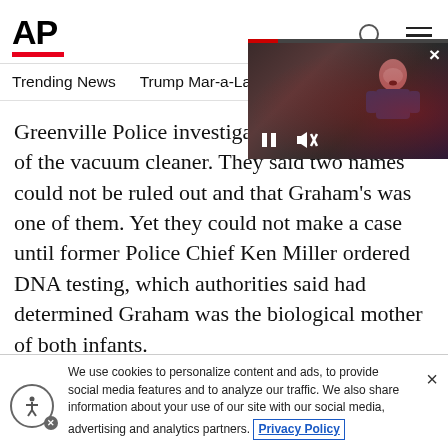AP
Trending News   Trump Mar-a-Lago search   Mikhail Gorbachev d
Greenville Police investigators tracked buyers of the vacuum cleaner. They said two names could not be ruled out and that Graham’s was one of them. Yet they could not make a case until former Police Chief Ken Miller ordered DNA testing, which authorities said had determined Graham was the biological mother of both infants.
W… tests on the infant girl came…
[Figure (screenshot): Video overlay showing a person speaking at a podium with pause and mute controls, and a red progress bar at top]
We use cookies to personalize content and ads, to provide social media features and to analyze our traffic. We also share information about your use of our site with our social media, advertising and analytics partners. Privacy Policy